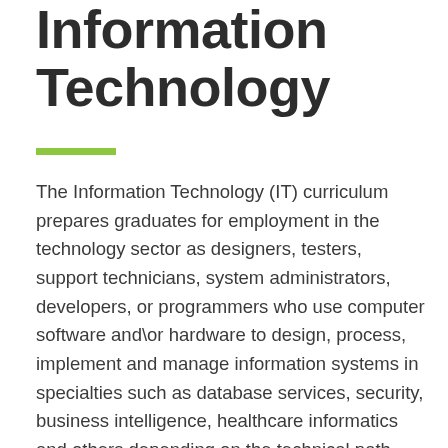Information Technology
The Information Technology (IT) curriculum prepares graduates for employment in the technology sector as designers, testers, support technicians, system administrators, developers, or programmers who use computer software and\or hardware to design, process, implement and manage information systems in specialties such as database services, security, business intelligence, healthcare informatics and others depending on the technical path selected within this curriculum. Course work includes development of a student's ability to create, store, communicate, exchange and use information to solve technical issues